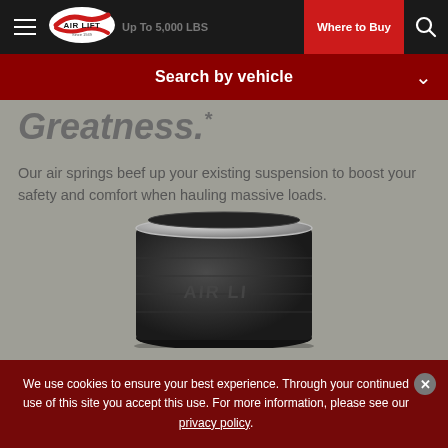Up To 5,000 LBS
Search by vehicle
Greatness.*
Our air springs beef up your existing suspension to boost your safety and comfort when hauling massive loads.
[Figure (photo): Close-up photo of an Air Lift branded air spring (black rubber bellows with silver/chrome top ring), showing the ribbed rubber construction and Air Lift logo embossed on the side.]
We use cookies to ensure your best experience. Through your continued use of this site you accept this use. For more information, please see our privacy policy.